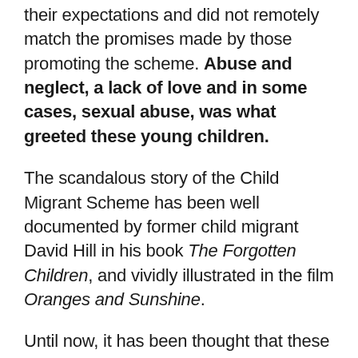their expectations and did not remotely match the promises made by those promoting the scheme. Abuse and neglect, a lack of love and in some cases, sexual abuse, was what greeted these young children.
The scandalous story of the Child Migrant Scheme has been well documented by former child migrant David Hill in his book The Forgotten Children, and vividly illustrated in the film Oranges and Sunshine.
Until now, it has been thought that these child migrants were not able to claim compensation for what was done to them. The organisation that ran the Northcote Farm School had little money, and what it had was quickly exhausted.